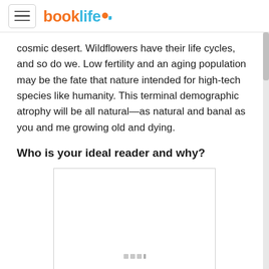booklife
cosmic desert. Wildflowers have their life cycles, and so do we. Low fertility and an aging population may be the fate that nature intended for high-tech species like humanity. This terminal demographic atrophy will be all natural—as natural and banal as you and me growing old and dying.
Who is your ideal reader and why?
[Figure (photo): A partially loaded image placeholder with three gray squares at the bottom center.]